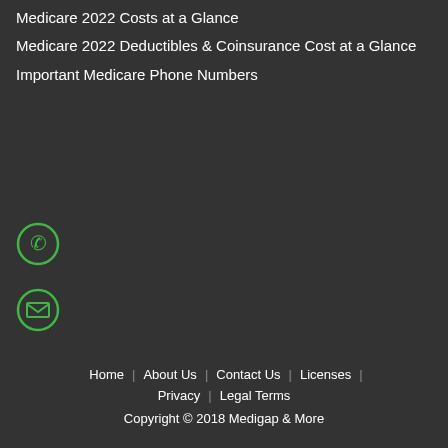Medicare 2022 Costs at a Glance
Medicare 2022 Deductibles & Coinsurance Cost at a Glance
Important Medicare Phone Numbers
[Figure (illustration): Green circle icon with phone handset symbol]
[Figure (illustration): Green circle icon with envelope/email symbol]
Home | About Us | Contact Us | Licenses | Privacy | Legal Terms
Copyright © 2018 Medigap & More